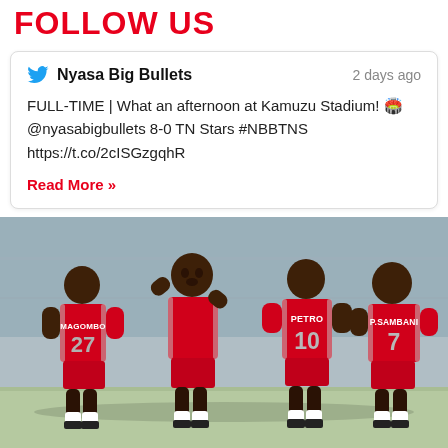FOLLOW US
Nyasa Big Bullets  2 days ago
FULL-TIME | What an afternoon at Kamuzu Stadium! 🏟️ @nyasabigbullets 8-0 TN Stars #NBBTNS https://t.co/2cISGzgqhR
Read More »
[Figure (photo): Football players in red jerseys celebrating after a match. Players visible from behind wearing jerseys: MAGOMBO 27, PETRO 10, P.SAMBANI 7, and a fourth player facing the camera.]